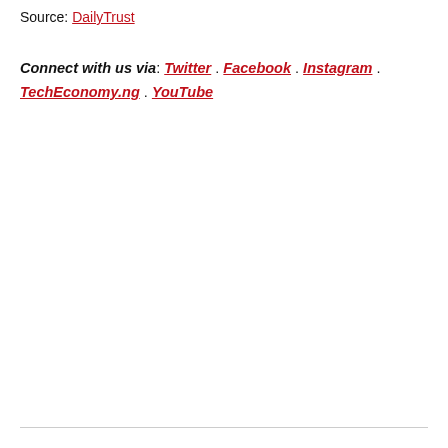Source: DailyTrust
Connect with us via: Twitter . Facebook . Instagram . TechEconomy.ng . YouTube